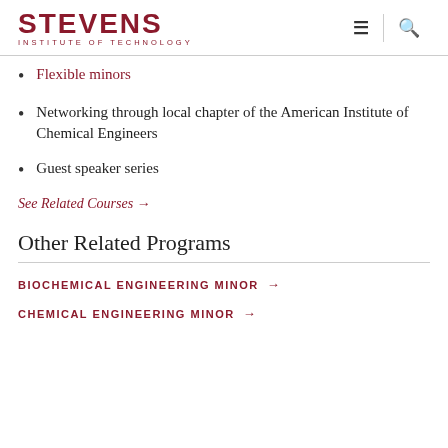STEVENS INSTITUTE OF TECHNOLOGY
Flexible minors
Networking through local chapter of the American Institute of Chemical Engineers
Guest speaker series
See Related Courses →
Other Related Programs
BIOCHEMICAL ENGINEERING MINOR →
CHEMICAL ENGINEERING MINOR →